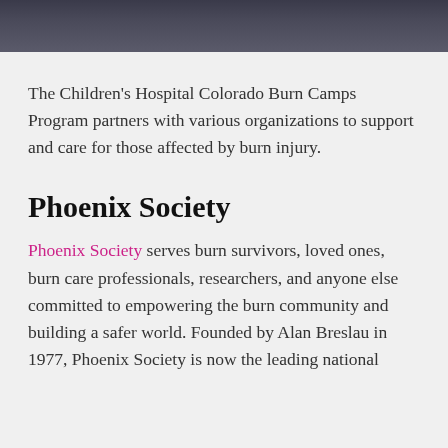[Figure (photo): Dark photo strip at top of page showing people in a blurred background scene]
The Children's Hospital Colorado Burn Camps Program partners with various organizations to support and care for those affected by burn injury.
Phoenix Society
Phoenix Society serves burn survivors, loved ones, burn care professionals, researchers, and anyone else committed to empowering the burn community and building a safer world. Founded by Alan Breslau in 1977, Phoenix Society is now the leading national